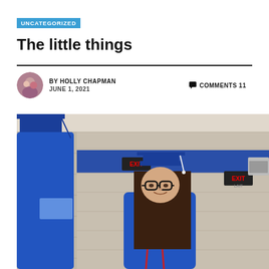UNCATEGORIZED
The little things
BY HOLLY CHAPMAN   COMMENTS 11
JUNE 1, 2021
[Figure (photo): A young woman wearing blue graduation cap and gown with glasses and a red cord, standing in a gymnasium with a blue stripe on the wall. Another graduate in blue is visible from behind on the left. Exit signs are visible in the background.]